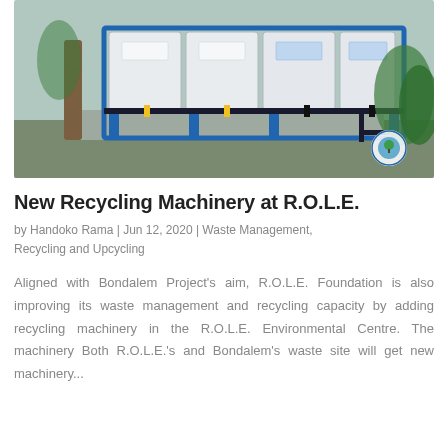[Figure (photo): Photograph of blue-framed recycling machinery with multiple white container bins and black pipes, installed outdoors at the R.O.L.E. Environmental Centre, with a circular logo watermark in the bottom-right corner.]
New Recycling Machinery at R.O.L.E.
by Handoko Rama | Jun 12, 2020 | Waste Management, Recycling and Upcycling
Aligned with Bondalem Project's aim, R.O.L.E. Foundation is also improving its waste management and recycling capacity by adding recycling machinery in the R.O.L.E. Environmental Centre. The machinery Both R.O.L.E.'s and Bondalem's waste site will get new machinery...